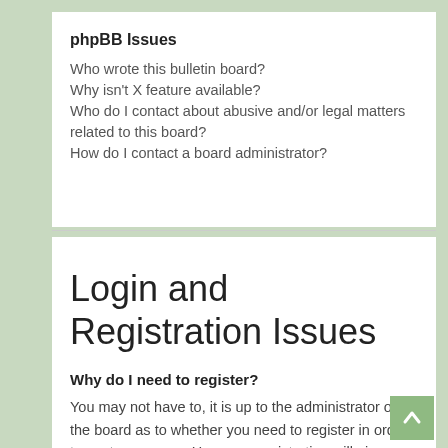phpBB Issues
Who wrote this bulletin board?
Why isn't X feature available?
Who do I contact about abusive and/or legal matters related to this board?
How do I contact a board administrator?
Login and Registration Issues
Why do I need to register?
You may not have to, it is up to the administrator of the board as to whether you need to register in order to post messages. However; registration will give you access to additional features not available to guest users such as definable avatar images, private messaging, emailing of fellow users, usergroup subscription, etc. It only takes a few moments to register so it is recommended you do so.